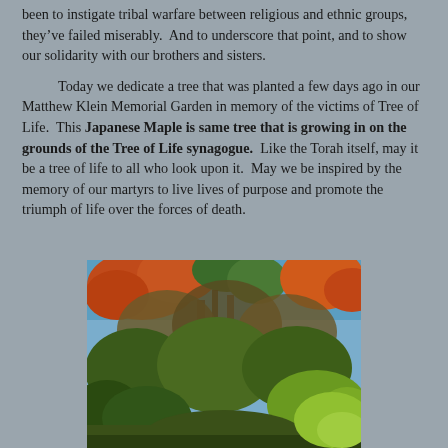been to instigate tribal warfare between religious and ethnic groups, they've failed miserably.  And to underscore that point, and to show our solidarity with our brothers and sisters.

Today we dedicate a tree that was planted a few days ago in our Matthew Klein Memorial Garden in memory of the victims of Tree of Life.  This Japanese Maple is same tree that is growing in on the grounds of the Tree of Life synagogue.  Like the Torah itself, may it be a tree of life to all who look upon it.  May we be inspired by the memory of our martyrs to live lives of purpose and promote the triumph of life over the forces of death.
[Figure (photo): Photo of a Japanese Maple tree with reddish-orange and green leaves against a blue sky, surrounded by green shrubs, taken in a garden setting.]